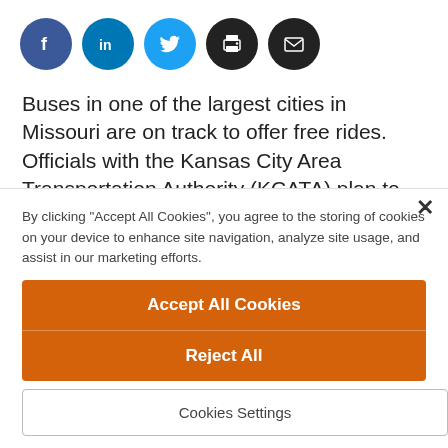[Figure (other): Social media sharing icons: Facebook (blue circle), LinkedIn (blue circle), Twitter (cyan circle), Print (black circle), Email (black circle)]
Buses in one of the largest cities in Missouri are on track to offer free rides. Officials with the Kansas City Area Transportation Authority (KCATA) plan to phase out the system’s $1.50 fare in the coming year, in a move to remove at least one barrier
By clicking "Accept All Cookies", you agree to the storing of cookies on your device to enhance site navigation, analyze site usage, and assist in our marketing efforts.
Accept All Cookies
Reject All
Cookies Settings